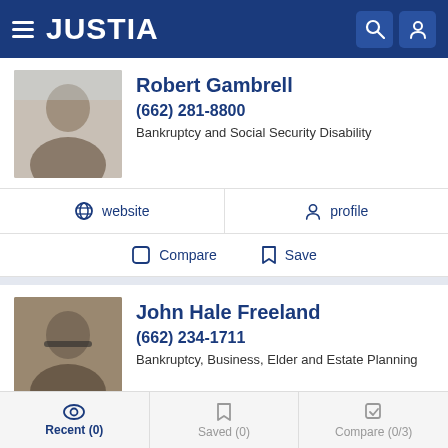JUSTIA
Robert Gambrell
(662) 281-8800
Bankruptcy and Social Security Disability
website  profile
Compare  Save
John Hale Freeland
(662) 234-1711
Bankruptcy, Business, Elder and Estate Planning
website  profile  email
Recent (0)  Saved (0)  Compare (0/3)